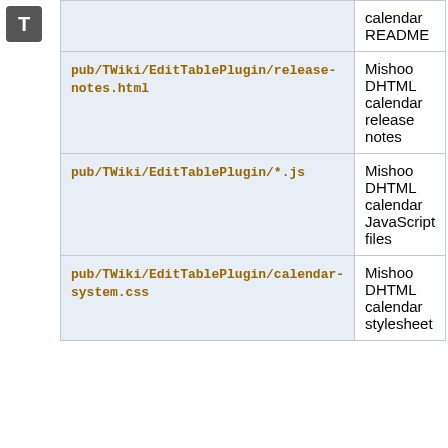[Figure (logo): Dark square icon with letter T in white]
|  | calendar README |
| pub/TWiki/EditTablePlugin/release-notes.html | Mishoo DHTML calendar release notes |
| pub/TWiki/EditTablePlugin/*.js | Mishoo DHTML calendar JavaScript files |
| pub/TWiki/EditTablePlugin/calendar-system.css | Mishoo DHTML calendar stylesheet |
The Plugin depends on the viewauth script to authenticate the user. As described in TWikiAccessControl, copy the view script to viewauth (or better, create a symbolic link) and add viewauth to